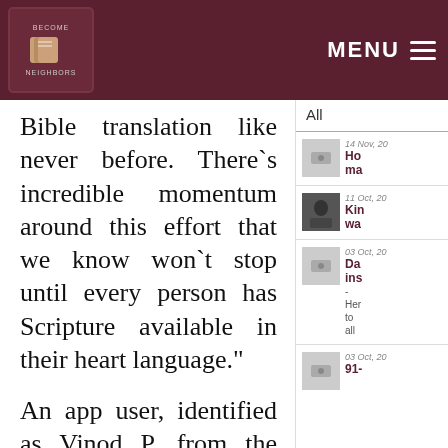BECOME NEIGHBORS | MENU
Bible translation like never before. There`s incredible momentum around this effort that we know won`t stop until every person has Scripture available in their heart language."
An app user, identified as Vinod P. from the state of Bihar in India, was quoted as saying, "The availability of different versions made
All
14 Nov, 20
Ho
ma
11 Oct, 20
Kin
wa
03 Oct, 20
Da
ins
-
Her
to
all
03 Oct, 20
91-